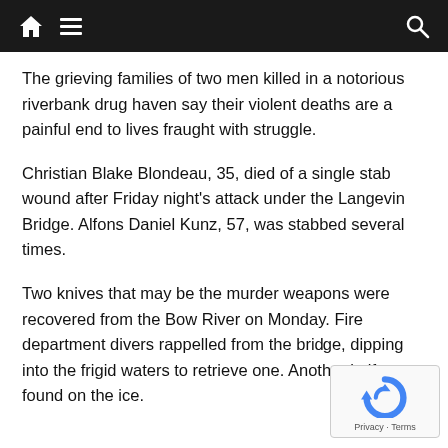Navigation bar with home, menu, and search icons
The grieving families of two men killed in a notorious riverbank drug haven say their violent deaths are a painful end to lives fraught with struggle.
Christian Blake Blondeau, 35, died of a single stab wound after Friday night's attack under the Langevin Bridge. Alfons Daniel Kunz, 57, was stabbed several times.
Two knives that may be the murder weapons were recovered from the Bow River on Monday. Fire department divers rappelled from the bri… dipping into the frigid waters to retrieve one. Another knife was found on the ice.